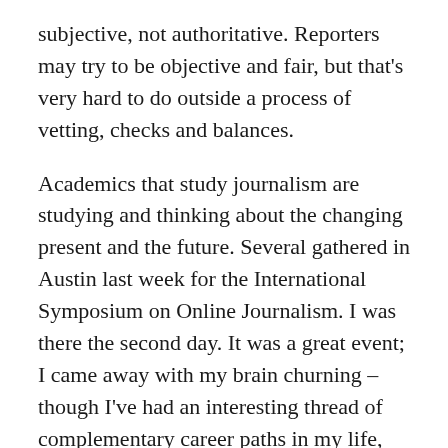subjective, not authoritative. Reporters may try to be objective and fair, but that's very hard to do outside a process of vetting, checks and balances.
Academics that study journalism are studying and thinking about the changing present and the future. Several gathered in Austin last week for the International Symposium on Online Journalism. I was there the second day. It was a great event; I came away with my brain churning – though I've had an interesting thread of complementary career paths in my life, my original goal was to be a journalist, and I'm most passionate about writing.